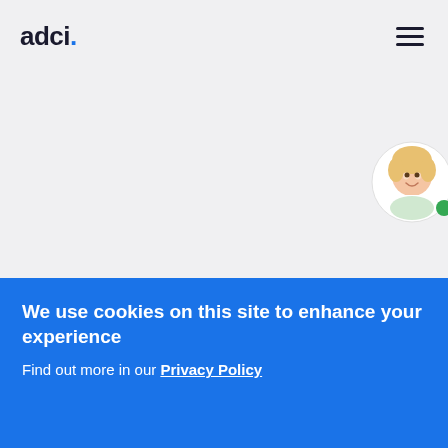adci.
Galen framework
[Figure (photo): Circular avatar photo of a smiling blonde woman with a green online status dot]
We use cookies on this site to enhance your experience
Find out more in our Privacy Policy